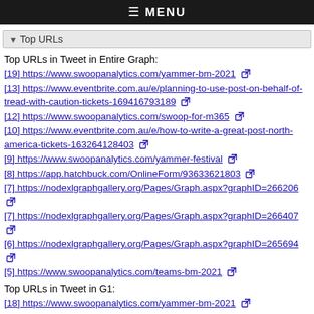≡ MENU
▾ Top URLs
Top URLs in Tweet in Entire Graph:
[19] https://www.swoopanalytics.com/yammer-bm-2021
[13] https://www.eventbrite.com.au/e/planning-to-use-post-on-behalf-of-tread-with-caution-tickets-169416793189
[12] https://www.swoopanalytics.com/swoop-for-m365
[10] https://www.eventbrite.com.au/e/how-to-write-a-great-post-north-america-tickets-163264128403
[9] https://www.swoopanalytics.com/yammer-festival
[8] https://app.hatchbuck.com/OnlineForm/93633621803
[7] https://nodexlgraphgallery.org/Pages/Graph.aspx?graphID=266206
[7] https://nodexlgraphgallery.org/Pages/Graph.aspx?graphID=266407
[6] https://nodexlgraphgallery.org/Pages/Graph.aspx?graphID=265694
[5] https://www.swoopanalytics.com/teams-bm-2021
Top URLs in Tweet in G1:
[18] https://www.swoopanalytics.com/yammer-bm-2021
[13] https://www.eventbrite.com.au/e/planning-to-use-post-on-behalf-of-tread-with-caution-tickets-169416793189
[11] https://www.swoopanalytics.com/swoop-for-m365
[10] https://www.eventbrite.com.au/e/how-to-write-a-great-...